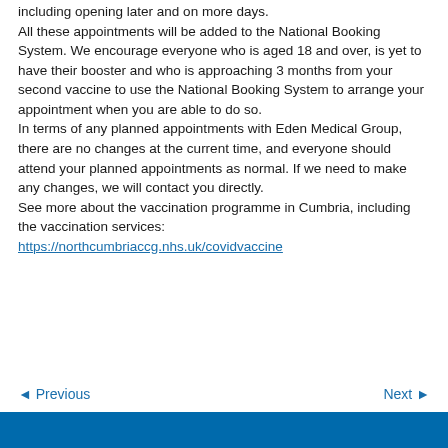including opening later and on more days. All these appointments will be added to the National Booking System. We encourage everyone who is aged 18 and over, is yet to have their booster and who is approaching 3 months from your second vaccine to use the National Booking System to arrange your appointment when you are able to do so. In terms of any planned appointments with Eden Medical Group, there are no changes at the current time, and everyone should attend your planned appointments as normal. If we need to make any changes, we will contact you directly. See more about the vaccination programme in Cumbria, including the vaccination services: https://northcumbriaccg.nhs.uk/covidvaccine
◄ Previous   Next ►